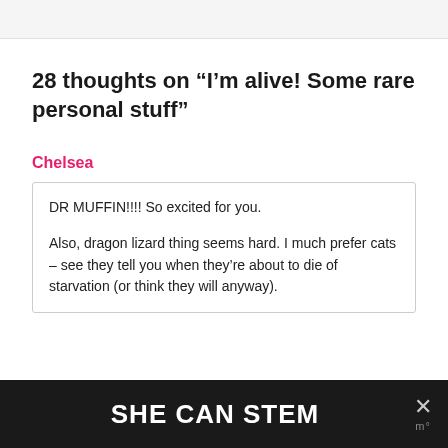28 thoughts on “I’m alive! Some rare personal stuff”
Chelsea
DR MUFFIN!!!! So excited for you.

Also, dragon lizard thing seems hard. I much prefer cats – see they tell you when they’re about to die of starvation (or think they will anyway).
SHE CAN STEM